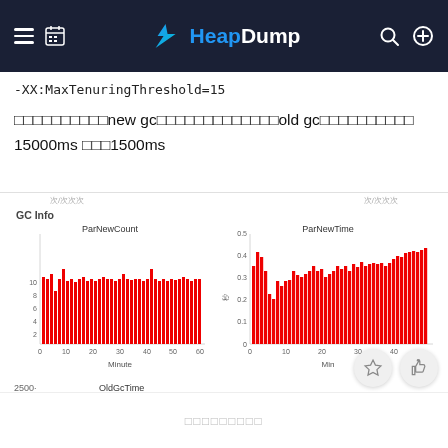HeapDump
-XX:MaxTenuringThreshold=15
调优之后new gc的时间从之前的old gc时间从之前的15000ms 降到1500ms
[Figure (bar-chart): ParNewCount]
[Figure (bar-chart): ParNewTime]
[Figure (bar-chart): OldGcTime chart partially visible, y-axis starts at 2500]
评论区数据展示